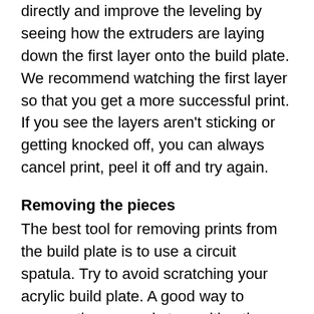down manually. This way we can make adjustments directly and improve the leveling by seeing how the extruders are laying down the first layer onto the build plate. We recommend watching the first layer so that you get a more successful print. If you see the layers aren't sticking or getting knocked off, you can always cancel print, peel it off and try again.
Removing the pieces
The best tool for removing prints from the build plate is to use a circuit spatula. Try to avoid scratching your acrylic build plate. A good way to remove the covers is to position the spatula on the edge of the layer above the build plate. Apply pressure to the spatula closely grip it upwards and pull up removing the piece from the build plate. The two frames are large enough to remove them